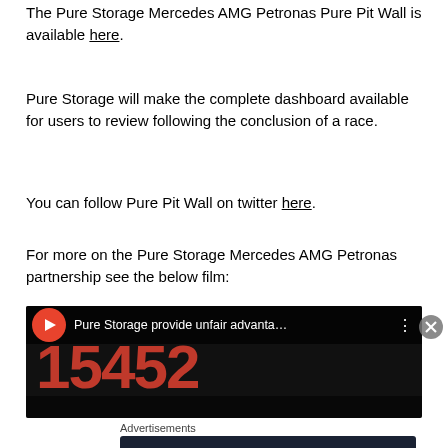The Pure Storage Mercedes AMG Petronas Pure Pit Wall is available here.
Pure Storage will make the complete dashboard available for users to review following the conclusion of a race.
You can follow Pure Pit Wall on twitter here.
For more on the Pure Storage Mercedes AMG Petronas partnership see the below film:
[Figure (screenshot): YouTube video thumbnail showing 'Pure Storage provide unfair advanta…' with large red numbers 15452 on dark background]
Advertisements
[Figure (infographic): Advertisement banner: 'Turn your blog into a money-making online course.' with arrow on dark navy background]